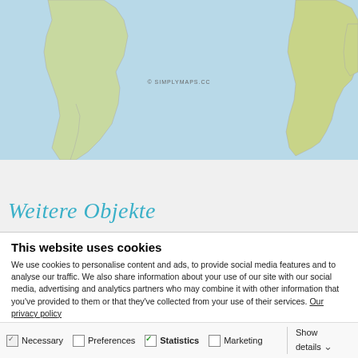[Figure (map): World map showing South America and Africa landmasses on a blue ocean background, with copyright watermark '© SIMPLYMAPS.CC']
Weitere Objekte
This website uses cookies
We use cookies to personalise content and ads, to provide social media features and to analyse our traffic. We also share information about your use of our site with our social media, advertising and analytics partners who may combine it with other information that you've provided to them or that they've collected from your use of their services. Our privacy policy
Allow selection | Allow all cookies
Necessary  Preferences  Statistics  Marketing  Show details